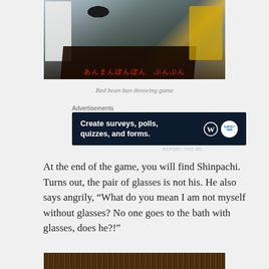[Figure (photo): Photo of a red bean bun throwing game at what appears to be a Japanese event or festival. Shows anime-style cutout boards, a dark tablecloth with orange Japanese text, and a child in yellow on the right side.]
Red bean bun throwing game
Advertisements
[Figure (screenshot): Advertisement banner with dark navy background reading 'Create surveys, polls, quizzes, and forms.' with WordPress logo and SurveyMonkey/poll logo on the right.]
REPORT THIS AD
At the end of the game, you will find Shinpachi. Turns out, the pair of glasses is not his. He also says angrily, “What do you mean I am not myself without glasses? No one goes to the bath with glasses, does he?!”
[Figure (photo): Partial photo at the bottom of the page showing what appears to be wooden slats or a bamboo/reed surface.]